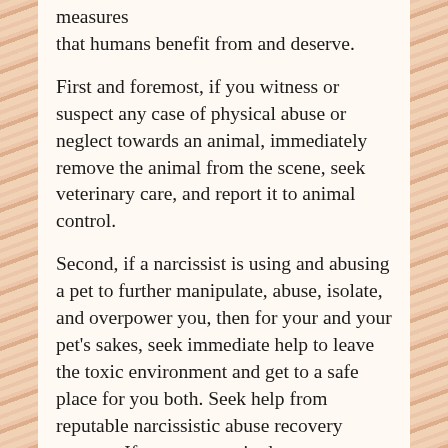measures that humans benefit from and deserve.
First and foremost, if you witness or suspect any case of physical abuse or neglect towards an animal, immediately remove the animal from the scene, seek veterinary care, and report it to animal control.
Second, if a narcissist is using and abusing a pet to further manipulate, abuse, isolate, and overpower you, then for your and your pet’s sakes, seek immediate help to leave the toxic environment and get to a safe place for you both. Seek help from reputable narcissistic abuse recovery sources. If you are ever in danger or suspect danger, contact 911 or your local policy emergency immediately.
Remember, the TRS and h...